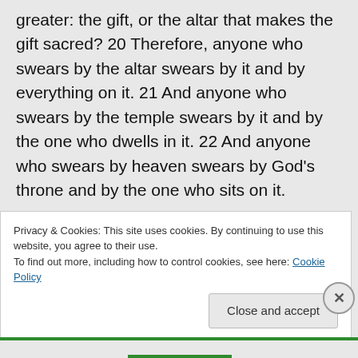greater: the gift, or the altar that makes the gift sacred? 20 Therefore, anyone who swears by the altar swears by it and by everything on it. 21 And anyone who swears by the temple swears by it and by the one who dwells in it. 22 And anyone who swears by heaven swears by God’s throne and by the one who sits on it. 23 “Woe to you, teachers of the law and Pharisees, you hypocrites! You give a tenth
Privacy & Cookies: This site uses cookies. By continuing to use this website, you agree to their use.
To find out more, including how to control cookies, see here: Cookie Policy
Close and accept